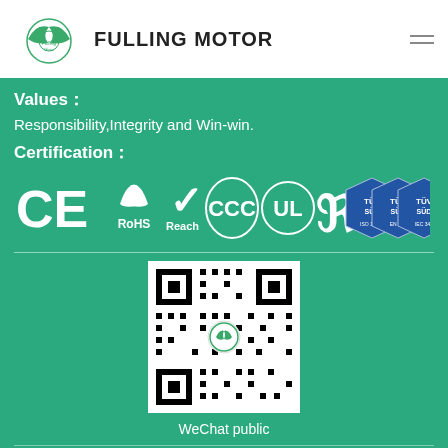[Figure (logo): Fulling Motor logo with green leaf/wing icon and text 'FULLING MOTOR']
Values：
Responsibility,Integrity and Win-win.
Certification：
[Figure (other): Certification logos: CE, RoHS, Reach, CCC, UL, UR, and three TÜV SÜD badges]
[Figure (other): QR code for WeChat public account with Fulling Motor logo in center]
WeChat public